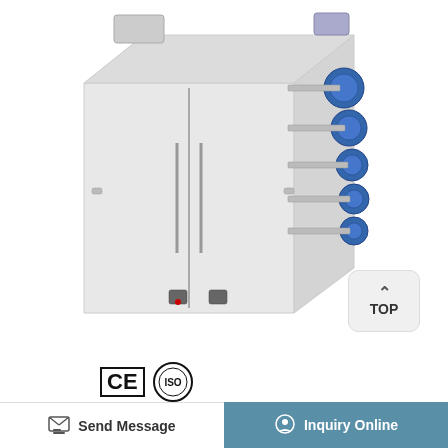[Figure (photo): Industrial hot air circulation drying oven with stainless steel enclosure, two front doors, multiple blue motor units mounted on the right side panel, and a duct outlet on top left. White background product photo.]
[Figure (logo): CE certification mark and ISO certification logo displayed side by side]
Oven Dried 4 Cps : Process Current Food
Send Message
Inquiry Online